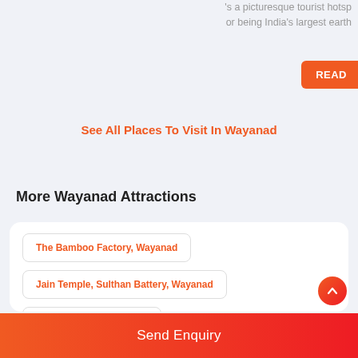's a picturesque tourist hotsp or being India's largest earth
READ
See All Places To Visit In Wayanad
More Wayanad Attractions
The Bamboo Factory, Wayanad
Jain Temple, Sulthan Battery, Wayanad
Pookode Lake, Wayanad
Tholpetty Wildlife Sanctuary, Wayanad
Edakkal Caves, Wayanad
Lakkidi View Point, Wayanad
Send Enquiry